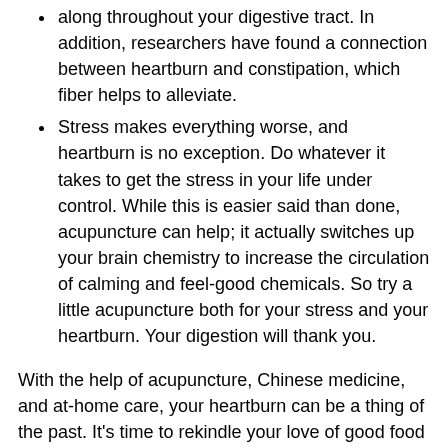along throughout your digestive tract. In addition, researchers have found a connection between heartburn and constipation, which fiber helps to alleviate.
Stress makes everything worse, and heartburn is no exception. Do whatever it takes to get the stress in your life under control. While this is easier said than done, acupuncture can help; it actually switches up your brain chemistry to increase the circulation of calming and feel-good chemicals. So try a little acupuncture both for your stress and your heartburn. Your digestion will thank you.
With the help of acupuncture, Chinese medicine, and at-home care, your heartburn can be a thing of the past. It's time to rekindle your love of good food without having to worry about heartburn symptoms afterward.